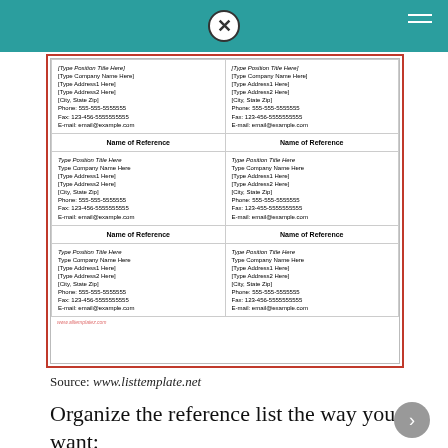[Figure (screenshot): A reference list template document showing a two-column table with 3 rows of reference entries. Each cell contains Name of Reference as a bold header, followed by italic Type Position Title Here, Type Company Name Here, [Type Address1 Here], [Type Address2 Here], [City, State Zip], Phone: 555-555-5555555, Fax: 123-456-5555555555, E-mail: email@example.com. The first row top section shows [Type Position Title Here] etc. without the Name of Reference header. Bottom watermark: www.alltemplatez.com]
Source: www.listtemplate.net
Organize the reference list the way you want: From a to z, new to old or grouped by source